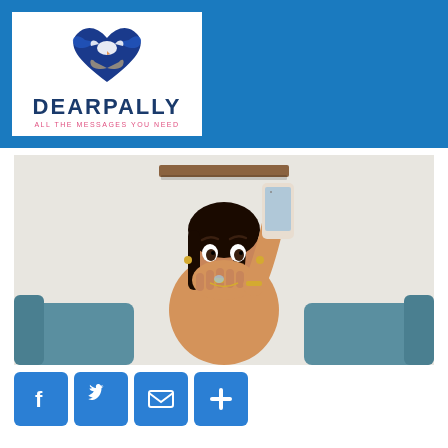[Figure (logo): DearPally logo with a heart and dove/hands icon in blue, text DEARPALLY in dark blue, subtitle ALL THE MESSAGES YOU NEED in pink/red]
[Figure (photo): A surprised young woman holding a smartphone up and covering her mouth with her hand, seated on a teal/blue sofa, with a wooden shelf visible above]
[Figure (infographic): Row of four social sharing icon buttons: Facebook (f), Twitter (bird), Email (envelope), and Plus (+), all in blue rounded squares]